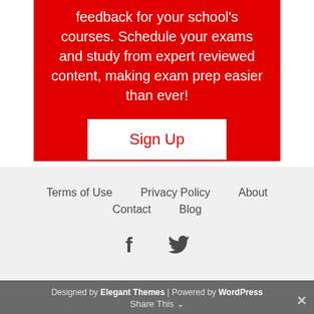feedback for your school's courses. Schedule your exams and study from expert reviewed content, making exam prep easier than ever!
Sign Up
Terms of Use   Privacy Policy   About   Contact   Blog
[Figure (illustration): Social media icons: Facebook and Twitter]
Designed by Elegant Themes | Powered by WordPress  Share This ×